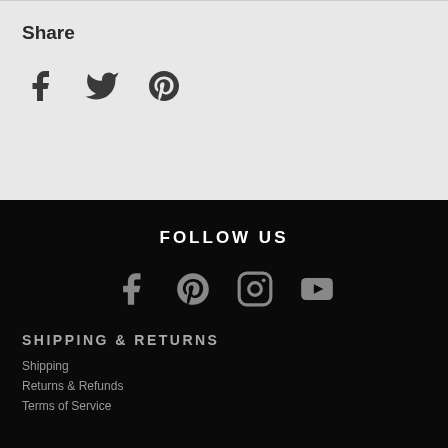Share
[Figure (illustration): Social share icons: Facebook, Twitter, Pinterest]
FOLLOW US
[Figure (illustration): Social media follow icons: Facebook, Pinterest, Instagram, YouTube]
SHIPPING & RETURNS
Shipping
Returns & Refunds
Terms of Service